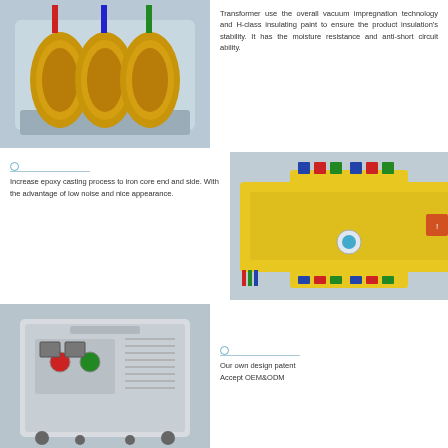[Figure (photo): Three-phase transformer with golden coils on gray background]
Transformer use the overall vacuum impregnation technology and H-class insulating paint to ensure the product insulation's stability. It has the moisture resistance and anti-short circuit ability.
Increase epoxy casting process to iron core end and side. With the advantage of low noise and nice appearance.
[Figure (photo): Yellow industrial transformer unit with terminal blocks]
[Figure (photo): Enclosed transformer on wheels with control panel]
Our own design patent
Accept OEM&ODM
FAQ
Q:When can I get the price?
A:We usually quote within 24 hours after we get your inquiry. If you are very urgent to get the price, please tell us in your email so that we will regard your inquiry priority.
Q:What 's your payment terms?
A:We accept L/C, T/T, Western Union and others. You can choose the one which is the most convenient for you.